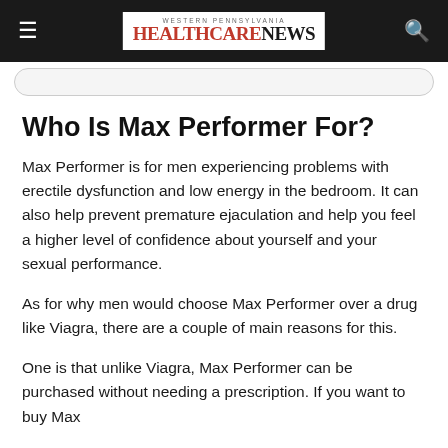Western Pennsylvania HealthcareNews
Who Is Max Performer For?
Max Performer is for men experiencing problems with erectile dysfunction and low energy in the bedroom. It can also help prevent premature ejaculation and help you feel a higher level of confidence about yourself and your sexual performance.
As for why men would choose Max Performer over a drug like Viagra, there are a couple of main reasons for this.
One is that unlike Viagra, Max Performer can be purchased without needing a prescription. If you want to buy Max